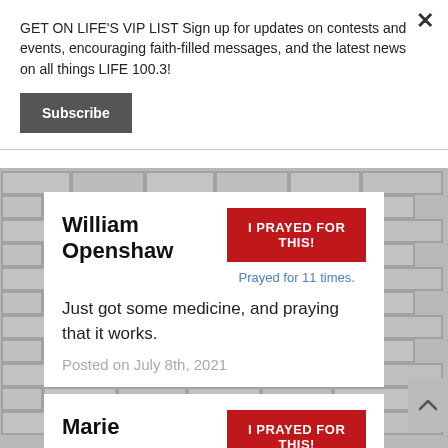GET ON LIFE'S VIP LIST Sign up for updates on contests and events, encouraging faith-filled messages, and the latest news on all things LIFE 100.3!
Subscribe
William Openshaw
I PRAYED FOR THIS!
Prayed for 11 times.
Just got some medicine, and praying that it works.
Posted on July 8th, 2021
Marie
I PRAYED FOR THIS!